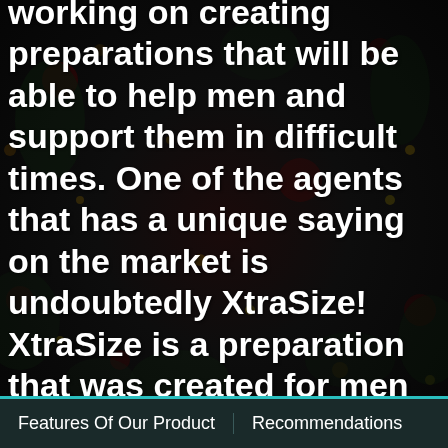working on creating preparations that will be able to help men and support them in difficult times. One of the agents that has a unique saying on the market is undoubtedly XtraSize! XtraSize is a preparation that was created for men who want to improve their sexual performance and enlarge their penis by several sizes. The main purpose of XtraSize is precisely to increase the naturalness as well as to
Features Of Our Product   Recommendations